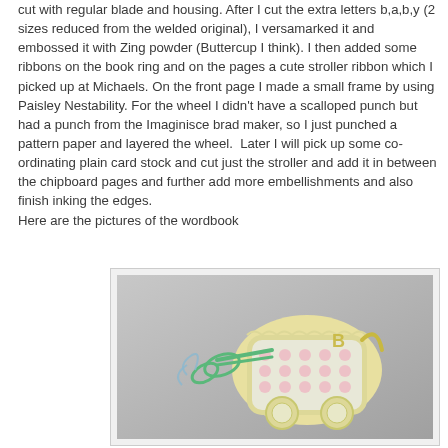cut with regular blade and housing. After I cut the extra letters b,a,b,y (2 sizes reduced from the welded original), I versamarked it and embossed it with Zing powder (Buttercup I think). I then added some ribbons on the book ring and on the pages a cute stroller ribbon which I picked up at Michaels. On the front page I made a small frame by using Paisley Nestability. For the wheel I didn't have a scalloped punch but had a punch from the Imaginisce brad maker, so I just punched a pattern paper and layered the wheel.  Later I will pick up some co-ordinating plain card stock and cut just the stroller and add it in between the chipboard pages and further add more embellishments and also finish inking the edges.
Here are the pictures of the wordbook
[Figure (photo): Photo of a handmade wordbook/scrapbook project showing a stroller-shaped chipboard book with polka dot patterned paper, scalloped edges, letter cutouts, and green ribbons.]